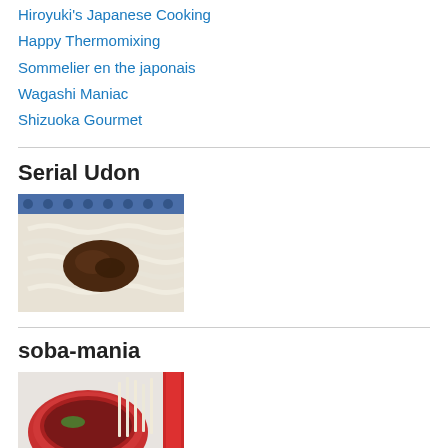Hiroyuki's Japanese Cooking
Happy Thermomixing
Sommelier en the japonais
Wagashi Maniac
Shizuoka Gourmet
Serial Udon
[Figure (photo): A bowl of udon noodles with dark sauce/topping in center, served in a blue and white patterned bowl]
soba-mania
[Figure (photo): A red bowl with soba noodles, partially visible, with what appears to be soup and green garnish]